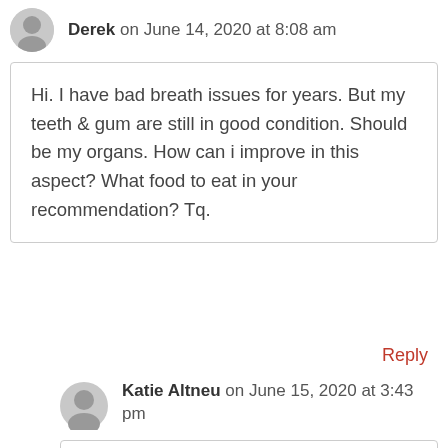Derek on June 14, 2020 at 8:08 am
Hi. I have bad breath issues for years. But my teeth & gum are still in good condition. Should be my organs. How can i improve in this aspect? What food to eat in your recommendation? Tq.
Reply
Katie Altneu on June 15, 2020 at 3:43 pm
Hi Derek. We think of bad breath as “stomach heat”, so eating foods that